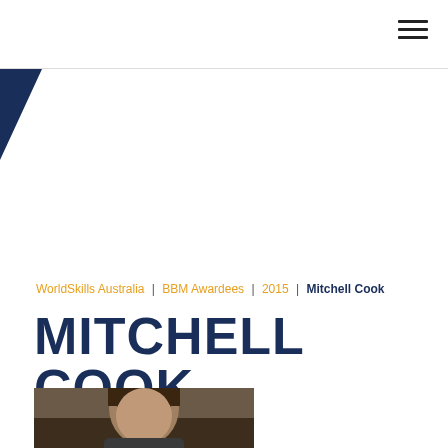[Figure (logo): WorldSkills Australia logo - white bird/hands icon with text 'worldskills Australia' on navy background]
WorldSkills Australia | BBM Awardees | 2015 | Mitchell Cook
MITCHELL COOK
[Figure (photo): Photo of Mitchell Cook, a young man with dark hair]